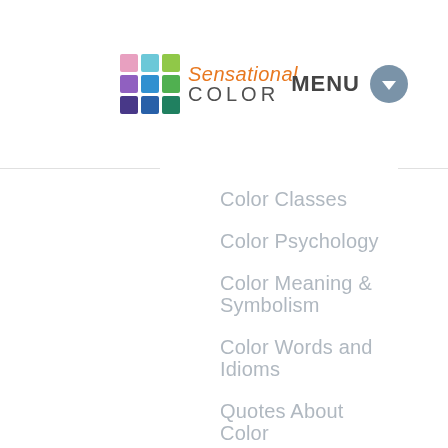[Figure (logo): Sensational Color logo with 3x3 grid of colored squares and text reading 'Sensational COLOR']
MENU
Color Classes
Color Psychology
Color Meaning & Symbolism
Color Words and Idioms
Quotes About Color
Books About Color
Color Resources
Color Around the World
Business Colors
Beauty and Fashion Colors